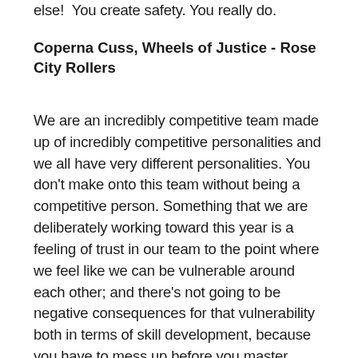else! You create safety. You really do.
Coperna Cuss, Wheels of Justice - Rose City Rollers
We are an incredibly competitive team made up of incredibly competitive personalities and we all have very different personalities. You don't make onto this team without being a competitive person. Something that we are deliberately working toward this year is a feeling of trust in our team to the point where we feel like we can be vulnerable around each other; and there's not going to be negative consequences for that vulnerability both in terms of skill development, because you have to mess up before you master something, and also in terms of emotional vulnerability, opening up to each other. I've noticed in our sessions people feel safe enough to say things that I don't think they'd feel comfortable saying outside of the